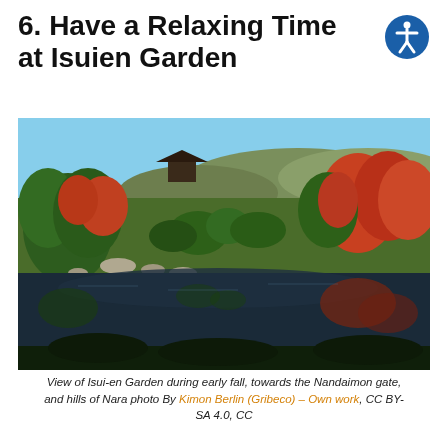6. Have a Relaxing Time at Isuien Garden
[Figure (photo): View of Isui-en Garden during early fall, showing a tranquil pond reflecting trees with red autumn foliage, manicured pine trees, stone paths, and hills with a traditional Japanese gate in the background under a clear blue sky.]
View of Isui-en Garden during early fall, towards the Nandaimon gate, and hills of Nara photo By Kimon Berlin (Gribeco) – Own work, CC BY-SA 4.0, CC